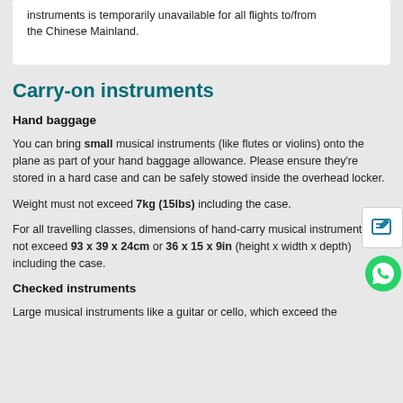instruments is temporarily unavailable for all flights to/from the Chinese Mainland.
Carry-on instruments
Hand baggage
You can bring small musical instruments (like flutes or violins) onto the plane as part of your hand baggage allowance. Please ensure they're stored in a hard case and can be safely stowed inside the overhead locker.
Weight must not exceed 7kg (15lbs) including the case.
For all travelling classes, dimensions of hand-carry musical instrument must not exceed 93 x 39 x 24cm or 36 x 15 x 9in (height x width x depth) including the case.
Checked instruments
Large musical instruments like a guitar or cello, which exceed the